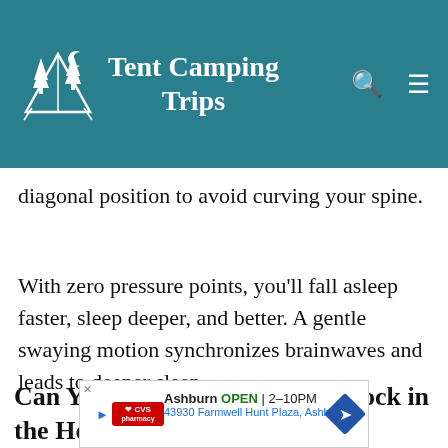Tent Camping Trips
diagonal position to avoid curving your spine.
With zero pressure points, you'll fall asleep faster, sleep deeper, and better. A gentle swaying motion synchronizes brainwaves and leads to deeper sleep.
Can You Use a Foldable Hammock in the House?
[Figure (screenshot): CVS Pharmacy advertisement banner showing Ashburn location, OPEN 2-10PM, address 43930 Farmwell Hunt Plaza, Ashburn]